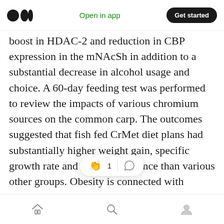Medium app header with logo, Open in app, Get started
boost in HDAC-2 and reduction in CBP expression in the mNAcSh in addition to a substantial decrease in alcohol usage and choice. A 60-day feeding test was performed to review the impacts of various chromium sources on the common carp. The outcomes suggested that fish fed CrMet diet plans had substantially higher weight gain, specific growth rate and feed performance than various other groups. Obesity is connected with changes in immune cell sub-populations. The Cibersort algorithm enumerated raised fractions of memo [clap 1] [comment] nphocytes and
Home Search Profile